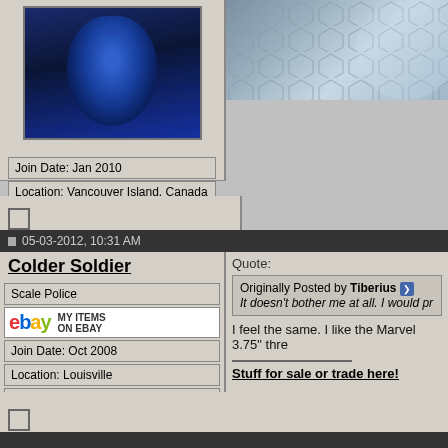[Figure (photo): Avatar image of a blue-toned face/character, dark blue sci-fi style portrait]
[Figure (illustration): Partial sci-fi illustration with hexagonal pattern in blue/grey tones]
Join Date: Jan 2010
Location: Vancouver Island, Canada
Posts: 9,891
05-03-2012, 10:31 AM
Colder Soldier
Scale Police
[Figure (logo): eBay logo with text MY ITEMS ON EBAY]
Join Date: Oct 2008
Location: Louisville
Posts: 820
Quote:
Originally Posted by Tiberius
It doesn't bother me at all. I would pr
I feel the same. I like the Marvel 3.75" thre
Stuff for sale or trade here!